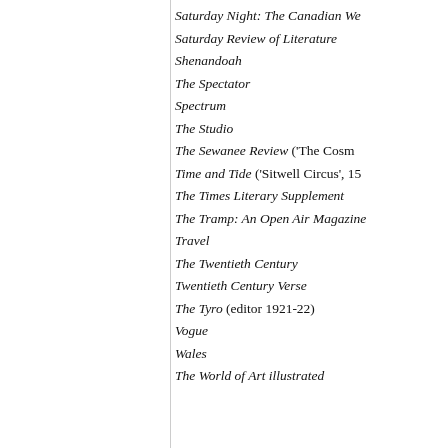Saturday Night: The Canadian We…
Saturday Review of Literature
Shenandoah
The Spectator
Spectrum
The Studio
The Sewanee Review ('The Cosm…
Time and Tide ('Sitwell Circus', 15…
The Times Literary Supplement
The Tramp: An Open Air Magazine…
Travel
The Twentieth Century
Twentieth Century Verse
The Tyro (editor 1921-22)
Vogue
Wales
The World of Art illustrated…